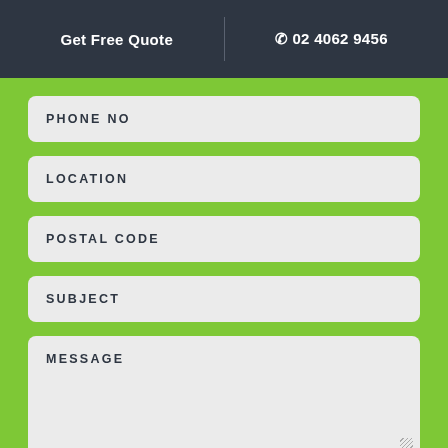Get Free Quote | 02 4062 9456
PHONE NO
LOCATION
POSTAL CODE
SUBJECT
MESSAGE